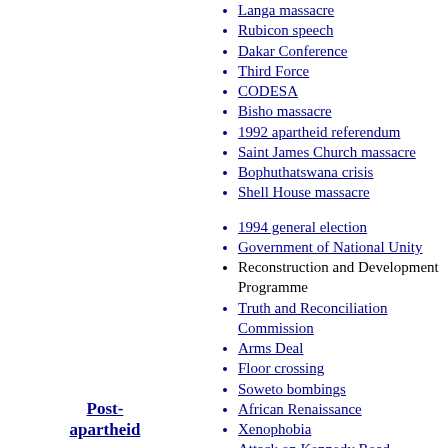Langa massacre
Rubicon speech
Dakar Conference
Third Force
CODESA
Bisho massacre
1992 apartheid referendum
Saint James Church massacre
Bophuthatswana crisis
Shell House massacre
1994 general election
Government of National Unity
Reconstruction and Development Programme
Truth and Reconciliation Commission
Arms Deal
Floor crossing
Soweto bombings
African Renaissance
Xenophobia
Attack on Kennedy Road
Marikana massacre
2012 Western Cape farm workers'
Post-apartheid